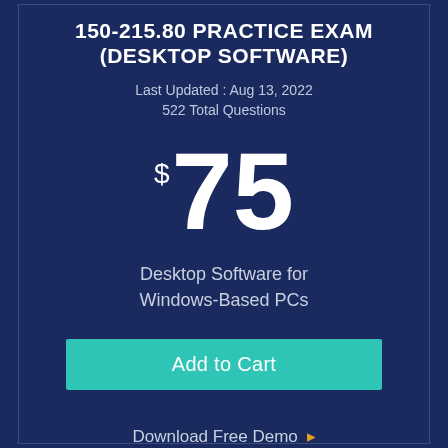150-215.80 PRACTICE EXAM (DESKTOP SOFTWARE)
Last Updated : Aug 13, 2022
522 Total Questions
$75
Desktop Software for Windows-Based PCs
Add to Cart
Download Free Demo ▶